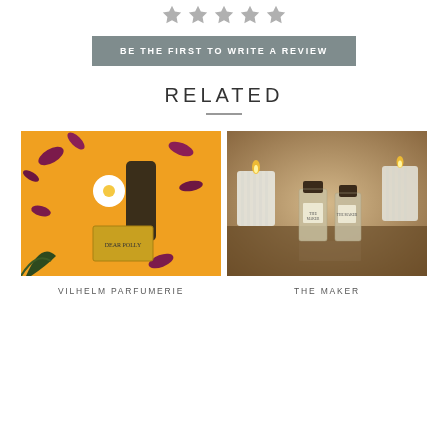[Figure (illustration): Five gray star rating icons in a row]
BE THE FIRST TO WRITE A REVIEW
RELATED
[Figure (photo): Vilhelm Parfumerie Dear Polly perfume bottle on orange background with flowers and rose petals]
[Figure (photo): The Maker perfume bottles displayed with white candles in a warm, moody setting]
VILHELM PARFUMERIE
THE MAKER